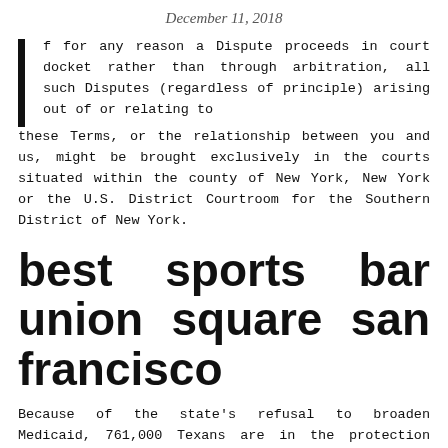December 11, 2018
If for any reason a Dispute proceeds in court docket rather than through arbitration, all such Disputes (regardless of principle) arising out of or relating to these Terms, or the relationship between you and us, might be brought exclusively in the courts situated within the county of New York, New York or the U.S. District Courtroom for the Southern District of New York.
best sports bar union square san francisco
Because of the state's refusal to broaden Medicaid, 761,000 Texans are in the protection hole , with no entry to financial help with their medical health insurance. Mcklate Girl & Youngster Centre provides an extensive